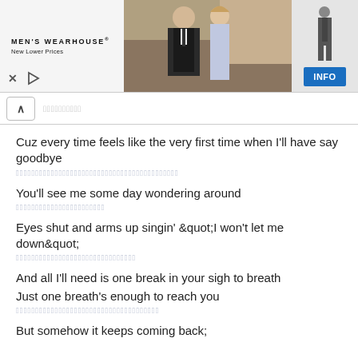[Figure (photo): Men's Wearhouse advertisement banner showing a couple in formal wear and a man in a suit, with an INFO button]
ꀀꀀꀀꀀꀀꀀꀀꀀꀀꀀ
Cuz every time feels like the very first time when I'll have say goodbye
ꀀꀀꀀꀀꀀꀀꀀꀀꀀꀀꀀꀀꀀꀀꀀꀀꀀꀀꀀꀀꀀꀀꀀꀀꀀꀀꀀꀀꀀꀀꀀꀀꀀꀀꀀꀀꀀꀀꀀꀀꀀꀀ
You'll see me some day wondering around
ꀀꀀꀀꀀꀀꀀꀀꀀꀀꀀꀀꀀꀀꀀꀀꀀꀀꀀꀀꀀꀀꀀꀀ
Eyes shut and arms up singin' &quot;I won't let me down&quot;
ꀀꀀꀀꀀꀀꀀꀀꀀꀀꀀꀀꀀꀀꀀꀀꀀꀀꀀꀀꀀꀀꀀꀀꀀꀀꀀꀀꀀꀀꀀꀀ
And all I'll need is one break in your sigh to breath
Just one breath's enough to reach you
ꀀꀀꀀꀀꀀꀀꀀꀀꀀꀀꀀꀀꀀꀀꀀꀀꀀꀀꀀꀀꀀꀀꀀꀀꀀꀀꀀꀀꀀꀀꀀꀀꀀ
But somehow it keeps coming back;